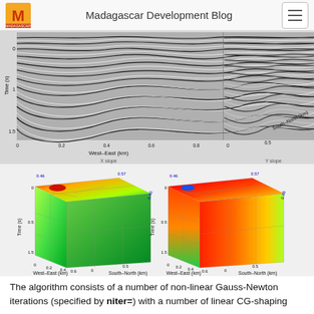Madagascar Development Blog
[Figure (continuous-plot): Seismic data visualization showing waveform patterns. Left panel labeled 'X slope' with axes West-East (km) from 0 to 0.8 and Time (s) from ~0 to 1.5. Right panel labeled 'Y slope' with South-North (km) axis from 0 to 0.5. Black and white wavy seismic trace patterns.]
[Figure (continuous-plot): Two 3D color cube plots side by side. Left cube shows slope data with axes Time (s), West-East (km), South-North (km), colored green to red. Right cube shows similar slope data with more red/warm colors indicating higher values. Both labeled with values 0.46, 0.57, 0.40 on axes.]
The algorithm consists of a number of non-linear Gauss-Newton iterations (specified by niter=) with a number of linear CG-shaping